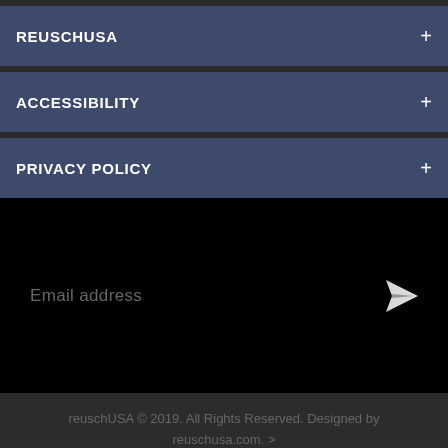REUSCHUSA +
ACCESSIBILITY +
PRIVACY POLICY +
Email address
reuschUSA © 2019. All Rights Reserved. Designed by reuschusa.com. >
Need Winter Gloves? Click Here.